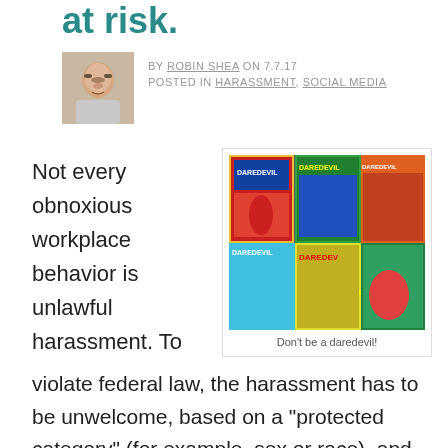at risk.
BY ROBIN SHEA ON 7.7.17
POSTED IN HARASSMENT, SOCIAL MEDIA
Not every obnoxious workplace behavior is unlawful harassment. To
[Figure (photo): Photo of Daredevil comic book covers spread out on a table]
Don't be a daredevil!
violate federal law, the harassment has to be unwelcome, based on a "protected category" (for example, sex or race), and "severe or